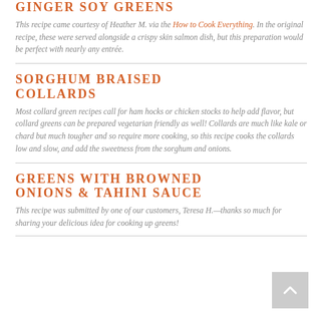GINGER SOY GREENS
This recipe came courtesy of Heather M. via the How to Cook Everything. In the original recipe, these were served alongside a crispy skin salmon dish, but this preparation would be perfect with nearly any entrée.
SORGHUM BRAISED COLLARDS
Most collard green recipes call for ham hocks or chicken stocks to help add flavor, but collard greens can be prepared vegetarian friendly as well! Collards are much like kale or chard but much tougher and so require more cooking, so this recipe cooks the collards low and slow, and add the sweetness from the sorghum and onions.
GREENS WITH BROWNED ONIONS & TAHINI SAUCE
This recipe was submitted by one of our customers, Teresa H.—thanks so much for sharing your delicious idea for cooking up greens!